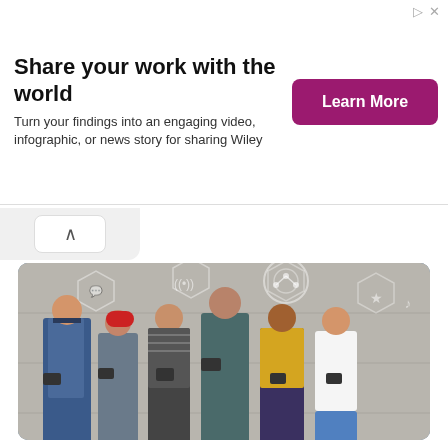Share your work with the world
Turn your findings into an engaging video, infographic, or news story for sharing Wiley
[Figure (photo): Group of six young people standing against a concrete wall, each looking at their smartphones, with social media and technology icons overlaid in the background]
21 High Paying Jobs That Don't Require a College Degree!
Check The List